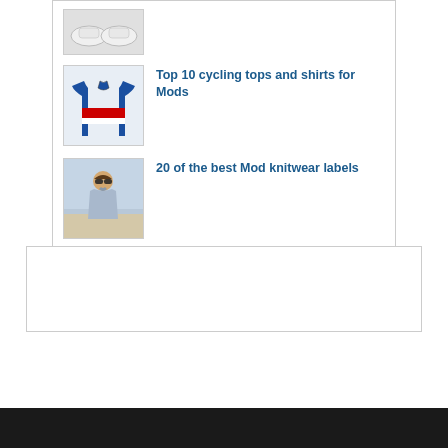[Figure (photo): Thumbnail of white shoes/sneakers at top of list]
[Figure (photo): Thumbnail of blue cycling jersey with red and white stripe]
Top 10 cycling tops and shirts for Mods
[Figure (photo): Thumbnail of man in light blue polo shirt wearing sunglasses]
20 of the best Mod knitwear labels
[Figure (other): Advertisement box (empty/blank)]